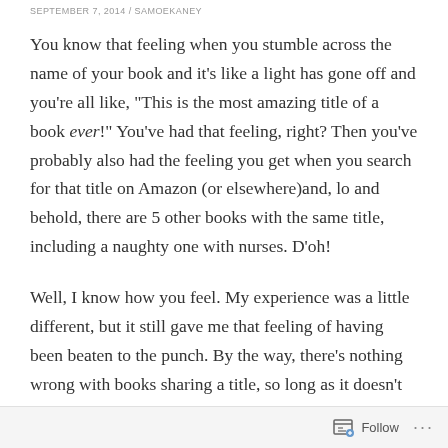SEPTEMBER 7, 2014 / SAMOEKANEY
You know that feeling when you stumble across the name of your book and it’s like a light has gone off and you’re all like, “This is the most amazing title of a book ever!” You’ve had that feeling, right? Then you’ve probably also had the feeling you get when you search for that title on Amazon (or elsewhere)and, lo and behold, there are 5 other books with the same title, including a naughty one with nurses. D’oh!
Well, I know how you feel. My experience was a little different, but it still gave me that feeling of having been beaten to the punch. By the way, there’s nothing wrong with books sharing a title, so long as it doesn’t included trademarked terms (eg, Star Wars, Captain America). I
Follow